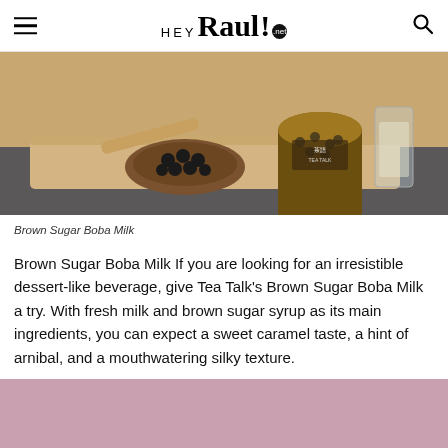HEY RAUL .net
[Figure (photo): Photo of brown sugar boba milk tea setup: a wooden spoon with black tapioca pearls in a wooden bowl, a boba drink in a spotted cup with a branded label, and a clear container in the background, all on a wooden tray on a dark surface.]
Brown Sugar Boba Milk
Brown Sugar Boba Milk If you are looking for an irresistible dessert-like beverage, give Tea Talk's Brown Sugar Boba Milk a try. With fresh milk and brown sugar syrup as its main ingredients, you can expect a sweet caramel taste, a hint of arnibal, and a mouthwatering silky texture.
[Figure (photo): Partially visible pink/mauve colored background image at the bottom of the page, cropped.]